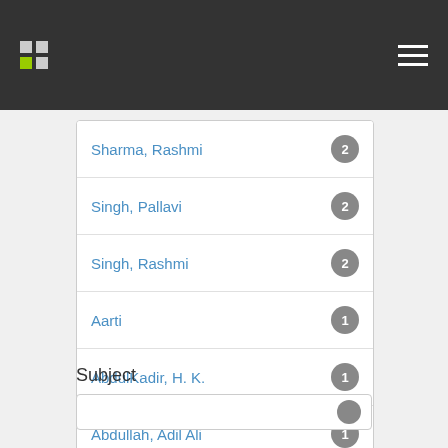Navigation header with logo and hamburger menu
Sharma, Rashmi 2
Singh, Pallavi 2
Singh, Rashmi 2
Aarti 1
AbdulKadir, H. K. 1
Abdullah, Adil Ali 1
Adhvaryu, Atanu 1
next >
Subject